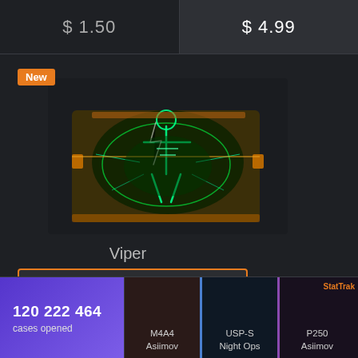$ 1.50
$ 4.99
New
[Figure (illustration): A CS:GO style weapon case with green glowing neon skeleton/viper design on a dark background with orange and yellow accents]
Viper
$ 3.99
120 222 464
cases opened
M4A4
Asiimov
USP-S
Night Ops
StatTrak
P250
Asiimov